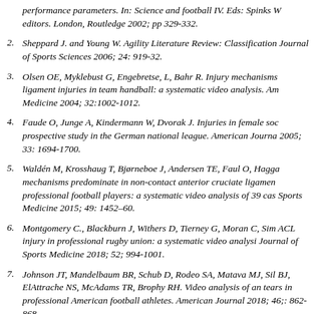performance parameters. In: Science and football IV. Eds: Spinks W editors. London, Routledge 2002; pp 329-332.
2. Sheppard J. and Young W. Agility Literature Review: Classification Journal of Sports Sciences 2006; 24: 919-32.
3. Olsen OE, Myklebust G, Engebretse, L, Bahr R. Injury mechanisms ligament injuries in team handball: a systematic video analysis. Am Medicine 2004; 32:1002-1012.
4. Faude O, Junge A, Kindermann W, Dvorak J. Injuries in female soc prospective study in the German national league. American Journa 2005; 33: 1694-1700.
5. Waldén M, Krosshaug T, Bjørneboe J, Andersen TE, Faul O, Hagga mechanisms predominate in non-contact anterior cruciate ligamen professional football players: a systematic video analysis of 39 cas Sports Medicine 2015; 49: 1452–60.
6. Montgomery C., Blackburn J, Withers D, Tierney G, Moran C, Sim ACL injury in professional rugby union: a systematic video analysi Journal of Sports Medicine 2018; 52; 994-1001.
7. Johnson JT, Mandelbaum BR, Schub D, Rodeo SA, Matava MJ, Sil BJ, ElAttrache NS, McAdams TR, Brophy RH. Video analysis of an tears in professional American football athletes. American Journal 2018; 46;: 862-868.
8. Baptista I, Johansen D, Seabra A, Pettersen SA. Position specific p match-play in a professional football club. PLoS One 2018; 13: e0
9. Bloomfield J, Polman R, O'Donoghue P. Physical Demands of Dif